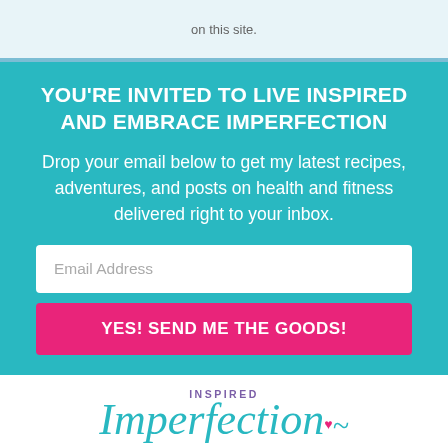on this site.
YOU'RE INVITED TO LIVE INSPIRED AND EMBRACE IMPERFECTION
Drop your email below to get my latest recipes, adventures, and posts on health and fitness delivered right to your inbox.
Email Address
YES! SEND ME THE GOODS!
[Figure (logo): Inspired Imperfection logo with teal cursive text and purple small caps]